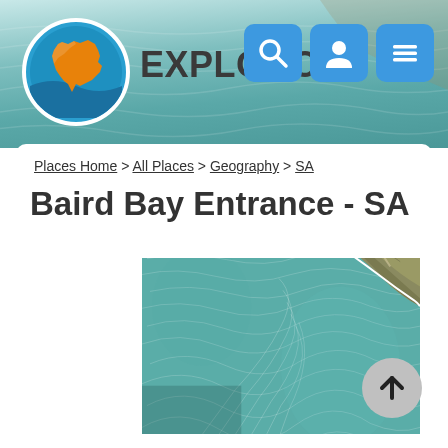EXPLOROZ
Places Home > All Places > Geography > SA
Baird Bay Entrance - SA
[Figure (photo): Aerial satellite view of Baird Bay Entrance, SA, showing turquoise-green ocean water with wave patterns and a rocky peninsular landmass with sandy/scrubby terrain in the upper right]